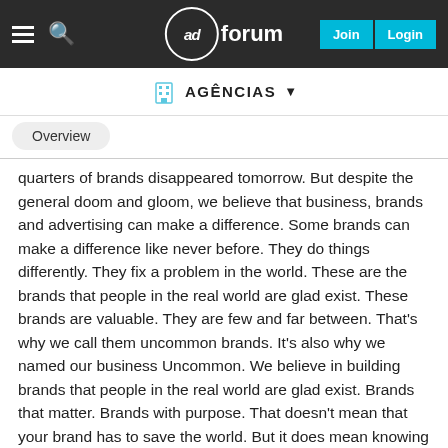adforum — Join | Login
AGÊNCIAS
Overview
quarters of brands disappeared tomorrow. But despite the general doom and gloom, we believe that business, brands and advertising can make a difference. Some brands can make a difference like never before. They do things differently. They fix a problem in the world. These are the brands that people in the real world are glad exist. These brands are valuable. They are few and far between. That's why we call them uncommon brands. It's also why we named our business Uncommon. We believe in building brands that people in the real world are glad exist. Brands that matter. Brands with purpose. That doesn't mean that your brand has to save the world. But it does mean knowing why you exist, what you do for people, how you matter to the world, what you contribute